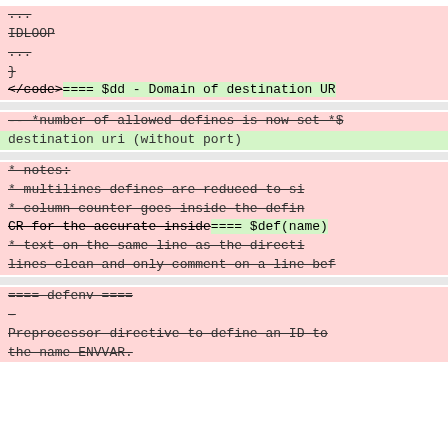...
IDLOOP
...
}
</code>==== $dd - Domain of destination UR
-- *number of allowed defines is now set *$
destination uri (without port)
* notes:
* multilines defines are reduced to si
* column counter goes inside the defin
CR for the accurate inside==== $def(name)
* text on the same line as the directi
lines clean and only comment on a line bef
==== defenv ====
-
Preprocessor directive to define an ID to the name ENVVAR.